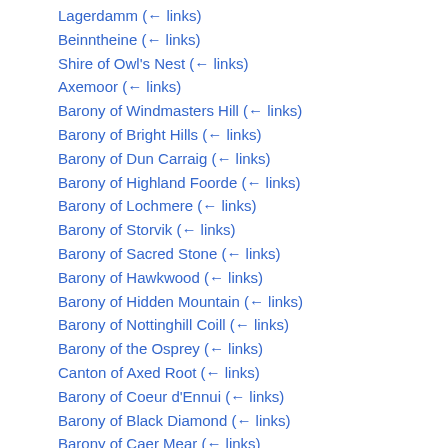Lagerdamm  (← links)
Beinntheine  (← links)
Shire of Owl's Nest  (← links)
Axemoor  (← links)
Barony of Windmasters Hill  (← links)
Barony of Bright Hills  (← links)
Barony of Dun Carraig  (← links)
Barony of Highland Foorde  (← links)
Barony of Lochmere  (← links)
Barony of Storvik  (← links)
Barony of Sacred Stone  (← links)
Barony of Hawkwood  (← links)
Barony of Hidden Mountain  (← links)
Barony of Nottinghill Coill  (← links)
Barony of the Osprey  (← links)
Canton of Axed Root  (← links)
Barony of Coeur d'Ennui  (← links)
Barony of Black Diamond  (← links)
Barony of Caer Mear  (← links)
Barony of Marinus  (← links)
Barony of Ponte Alto  (← links)
Barony of Stierbach  (← links)